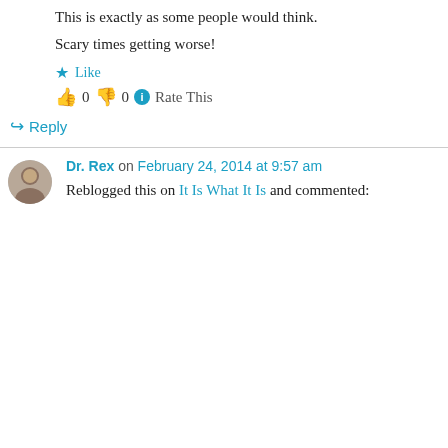This is exactly as some people would think. Scary times getting worse!
★ Like
👍 0  👎 0  ℹ Rate This
↪ Reply
Dr. Rex on February 24, 2014 at 9:57 am
Reblogged this on It Is What It Is and commented:
Privacy & Cookies: This site uses cookies. By continuing to use this website, you agree to their use. To find out more, including how to control cookies, see here: Cookie Policy